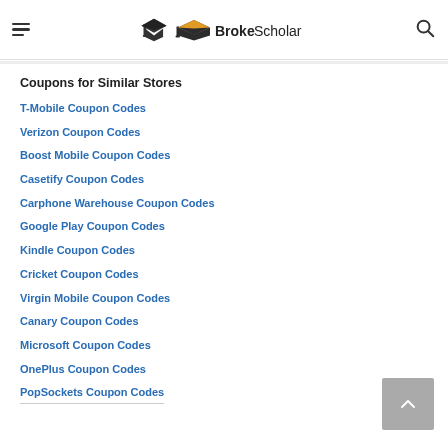BrokeScholar
Coupons for Similar Stores
T-Mobile Coupon Codes
Verizon Coupon Codes
Boost Mobile Coupon Codes
Casetify Coupon Codes
Carphone Warehouse Coupon Codes
Google Play Coupon Codes
Kindle Coupon Codes
Cricket Coupon Codes
Virgin Mobile Coupon Codes
Canary Coupon Codes
Microsoft Coupon Codes
OnePlus Coupon Codes
PopSockets Coupon Codes